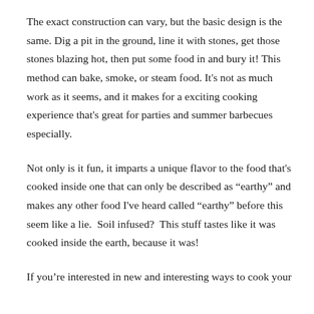The exact construction can vary, but the basic design is the same. Dig a pit in the ground, line it with stones, get those stones blazing hot, then put some food in and bury it! This method can bake, smoke, or steam food. It's not as much work as it seems, and it makes for a exciting cooking experience that's great for parties and summer barbecues especially.
Not only is it fun, it imparts a unique flavor to the food that's cooked inside one that can only be described as “earthy” and makes any other food I've heard called “earthy” before this seem like a lie. Soil infused? This stuff tastes like it was cooked inside the earth, because it was!
If you’re interested in new and interesting ways to cook your